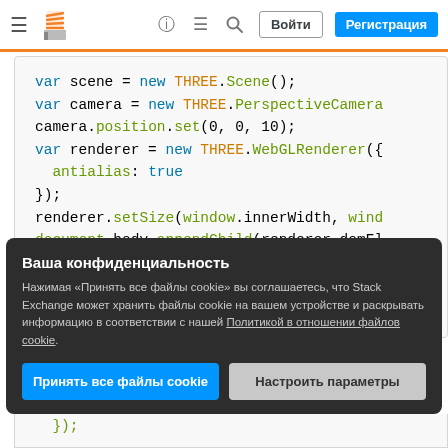Stack Overflow navigation bar with hamburger menu, logo, help, chat, search icons, Войти and Регистрация buttons
[Figure (screenshot): Code editor snippet showing Three.js JavaScript code with syntax highlighting on a light grey background]
Ваша конфиденциальность
Нажимая «Принять все файлы cookie» вы соглашаетесь, что Stack Exchange может хранить файлы cookie на вашем устройстве и раскрывать информацию в соответствии с нашей Политикой в отношении файлов cookie.
Принять все файлы cookie
Настроить параметры